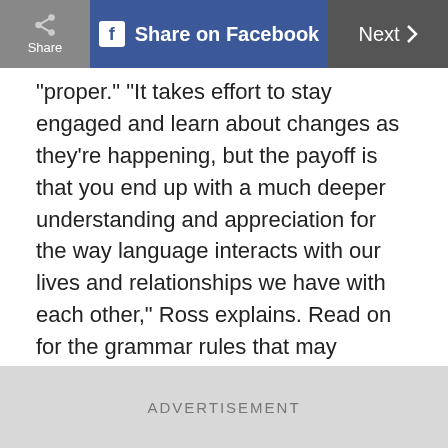Share | Share on Facebook | Next
“proper.” “It takes effort to stay engaged and learn about changes as they’re happening, but the payoff is that you end up with a much deeper understanding and appreciation for the way language interacts with our lives and relationships we have with each other,” Ross explains. Read on for the grammar rules that may change in the next decade and here’s 12 that have already shifted for good.
ADVERTISEMENT